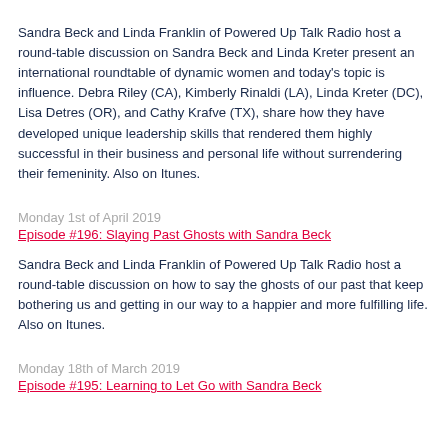Sandra Beck and Linda Franklin of Powered Up Talk Radio host a round-table discussion on Sandra Beck and Linda Kreter present an international roundtable of dynamic women and today's topic is influence. Debra Riley (CA), Kimberly Rinaldi (LA), Linda Kreter (DC), Lisa Detres (OR), and Cathy Krafve (TX), share how they have developed unique leadership skills that rendered them highly successful in their business and personal life without surrendering their femeninity. Also on Itunes.
Monday 1st of April 2019
Episode #196: Slaying Past Ghosts with Sandra Beck
Sandra Beck and Linda Franklin of Powered Up Talk Radio host a round-table discussion on how to say the ghosts of our past that keep bothering us and getting in our way to a happier and more fulfilling life. Also on Itunes.
Monday 18th of March 2019
Episode #195: Learning to Let Go with Sandra Beck